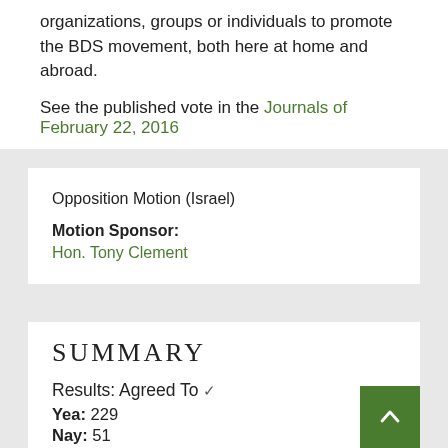organizations, groups or individuals to promote the BDS movement, both here at home and abroad.
See the published vote in the Journals of February 22, 2016
Opposition Motion (Israel)
Motion Sponsor: Hon. Tony Clement
SUMMARY
Results: Agreed To ✓
Yea: 229
Nay: 51
Paired: 0